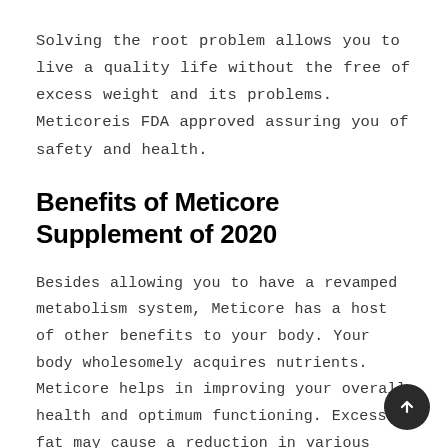Solving the root problem allows you to live a quality life without the free of excess weight and its problems. Meticoreis FDA approved assuring you of safety and health.
Benefits of Meticore Supplement of 2020
Besides allowing you to have a revamped metabolism system, Meticore has a host of other benefits to your body. Your body wholesomely acquires nutrients. Meticore helps in improving your overall health and optimum functioning. Excess fat may cause a reduction in various bodily functions, and Meticore review